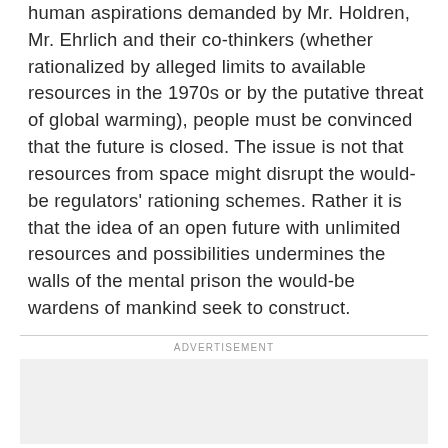human aspirations demanded by Mr. Holdren, Mr. Ehrlich and their co-thinkers (whether rationalized by alleged limits to available resources in the 1970s or by the putative threat of global warming), people must be convinced that the future is closed. The issue is not that resources from space might disrupt the would-be regulators' rationing schemes. Rather it is that the idea of an open future with unlimited resources and possibilities undermines the walls of the mental prison the would-be wardens of mankind seek to construct.
ADVERTISEMENT